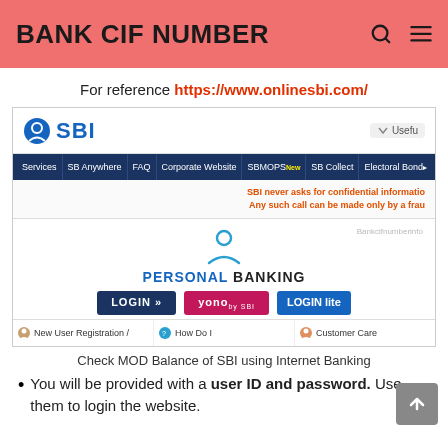BANK CIF NUMBER
For reference https://www.onlinesbi.com/
[Figure (screenshot): Screenshot of onlinesbi.com website showing SBI logo, navigation bar with Services, SB Anywhere, FAQ, Corporate Website, SBMOPS New, SB Collect, Electoral Bond; a warning text 'SBI never asks for confidential information. Any such call can be made only by a frau'; Personal Banking section with person icon, LOGIN button, yono button, LOGIN lite button; and bottom links for New User Registration, How Do I, Customer Care]
Check MOD Balance of SBI using Internet Banking
You will be provided with a user ID and password. Use them to login the website.